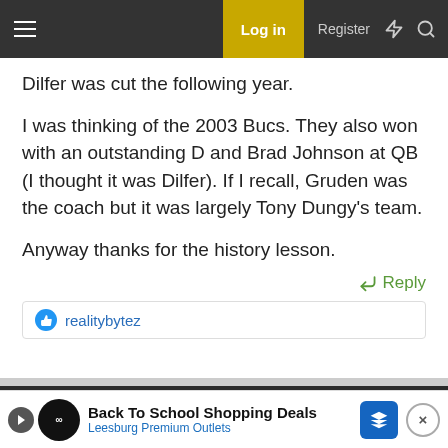Log in  Register
Dilfer was cut the following year.
I was thinking of the 2003 Bucs. They also won with an outstanding D and Brad Johnson at QB (I thought it was Dilfer). If I recall, Gruden was the coach but it was largely Tony Dungy's team.
Anyway thanks for the history lesson.
Reply
realitybytez
May 31, 2022  #1,024
This site uses cookies to help personalise content, tailor your experience and to keep you logged in if you register. By continuing to use this site, you are consenting to our use of cookies.
Back To School Shopping Deals Leesburg Premium Outlets